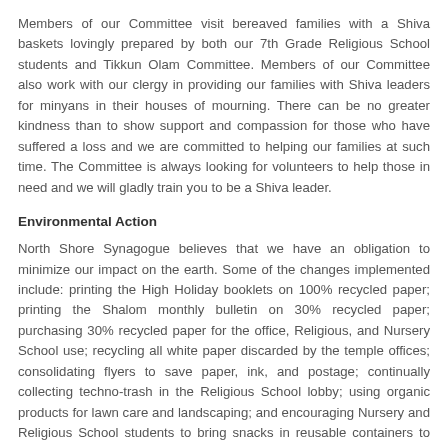Members of our Committee visit bereaved families with a Shiva baskets lovingly prepared by both our 7th Grade Religious School students and Tikkun Olam Committee. Members of our Committee also work with our clergy in providing our families with Shiva leaders for minyans in their houses of mourning. There can be no greater kindness than to show support and compassion for those who have suffered a loss and we are committed to helping our families at such time. The Committee is always looking for volunteers to help those in need and we will gladly train you to be a Shiva leader.
Environmental Action
North Shore Synagogue believes that we have an obligation to minimize our impact on the earth. Some of the changes implemented include: printing the High Holiday booklets on 100% recycled paper; printing the Shalom monthly bulletin on 30% recycled paper; purchasing 30% recycled paper for the office, Religious, and Nursery School use; recycling all white paper discarded by the temple offices; consolidating flyers to save paper, ink, and postage; continually collecting techno-trash in the Religious School lobby; using organic products for lawn care and landscaping; and encouraging Nursery and Religious School students to bring snacks in reusable containers to reduce trash as part of our “No Waste” Campaign.